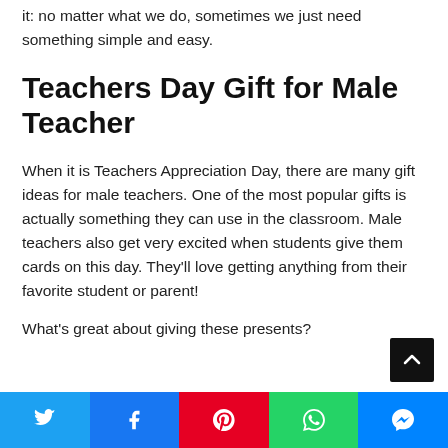it: no matter what we do, sometimes we just need something simple and easy.
Teachers Day Gift for Male Teacher
When it is Teachers Appreciation Day, there are many gift ideas for male teachers. One of the most popular gifts is actually something they can use in the classroom. Male teachers also get very excited when students give them cards on this day. They'll love getting anything from their favorite student or parent!
What's great about giving these presents?